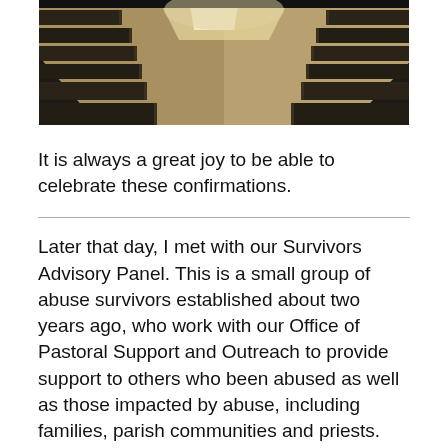[Figure (photo): Interior of a church showing wooden pews in dim lighting, viewed from the center aisle toward the altar.]
It is always a great joy to be able to celebrate these confirmations.
Later that day, I met with our Survivors Advisory Panel. This is a small group of abuse survivors established about two years ago, who work with our Office of Pastoral Support and Outreach to provide support to others who been abused as well as those impacted by abuse, including families, parish communities and priests. The panel has helped organize healing Masses, wellness workshops, rosaries, parish missions, and other activities for survivors and their families.